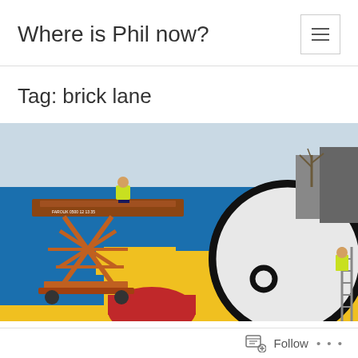Where is Phil now?
Tag: brick lane
[Figure (photo): Workers on a scissor lift and ladder painting a large colourful street art mural on a brick wall, featuring bold yellow, blue, red and white shapes with a cartoon face outline, on Brick Lane London.]
Follow  ...